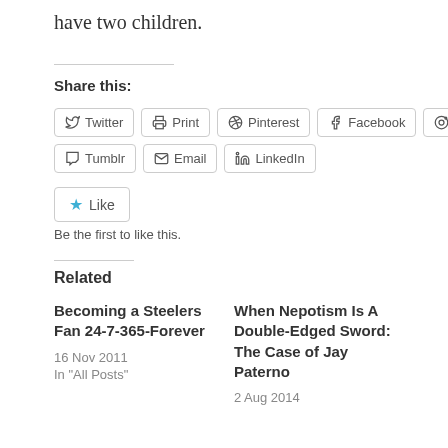have two children.
Share this:
Twitter  Print  Pinterest  Facebook  Reddit  Tumblr  Email  LinkedIn
Like
Be the first to like this.
Related
Becoming a Steelers Fan 24-7-365-Forever
16 Nov 2011
In "All Posts"
When Nepotism Is A Double-Edged Sword: The Case of Jay Paterno
2 Aug 2014